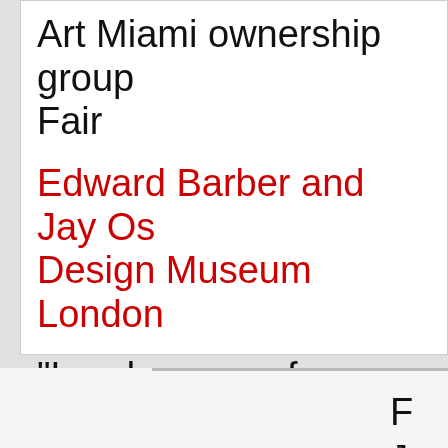Art Miami ownership group... Fair
Edward Barber and Jay Os... Design Museum London
"Landscapes of Pressure b... opens at the Fundació Joa...
F
Joa...